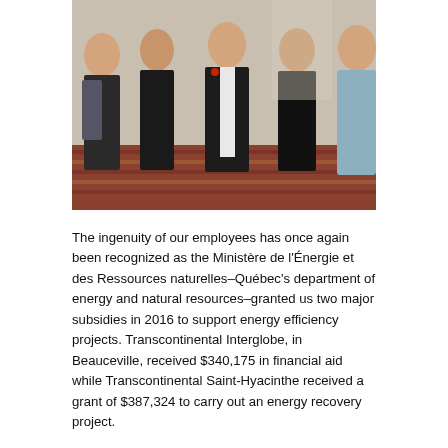[Figure (photo): Group photo of five people standing together indoors, in formal attire, in what appears to be a hotel or conference venue.]
The ingenuity of our employees has once again been recognized as the Ministère de l'Énergie et des Ressources naturelles–Québec's department of energy and natural resources–granted us two major subsidies in 2016 to support energy efficiency projects. Transcontinental Interglobe, in Beauceville, received $340,175 in financial aid while Transcontinental Saint-Hyacinthe received a grant of $387,324 to carry out an energy recovery project.
By installing a heat exchanger at the outlet of the thermal incinerator, these plants utilize the recovered heat to heat their building and to supply the presses' dryers with preheated air, thereby reducing their natural gas consumption. On an annual